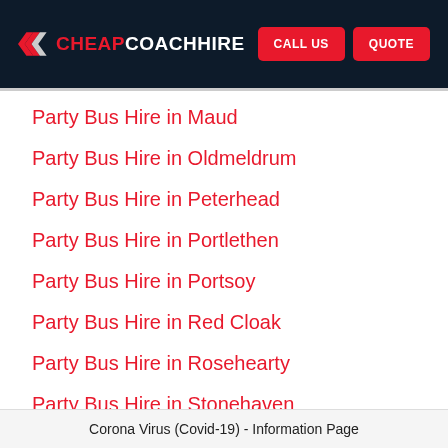CHEAPCOACHHIRE | CALL US | QUOTE
Party Bus Hire in Maud
Party Bus Hire in Oldmeldrum
Party Bus Hire in Peterhead
Party Bus Hire in Portlethen
Party Bus Hire in Portsoy
Party Bus Hire in Red Cloak
Party Bus Hire in Rosehearty
Party Bus Hire in Stonehaven
Corona Virus (Covid-19) - Information Page